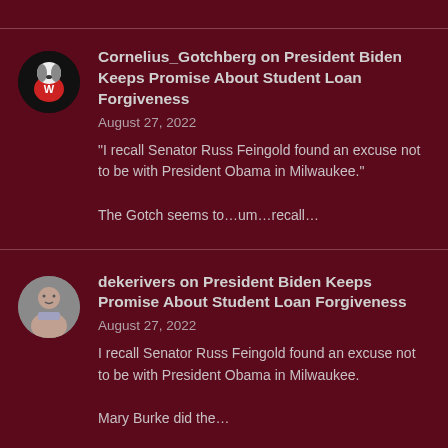Cornelius_Gotchberg on President Biden Keeps Promise About Student Loan Forgiveness
August 27, 2022
"I recall Senator Russ Feingold found an excuse not to be with President Obama in Milwaukee."
The Gotch seems to…um…recall…
dekerivers on President Biden Keeps Promise About Student Loan Forgiveness
August 27, 2022
I recall Senator Russ Feingold found an excuse not to be with President Obama in Milwaukee. Mary Burke did the…